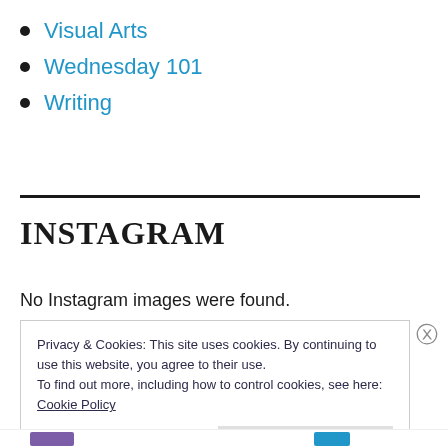Visual Arts
Wednesday 101
Writing
INSTAGRAM
No Instagram images were found.
Privacy & Cookies: This site uses cookies. By continuing to use this website, you agree to their use.
To find out more, including how to control cookies, see here:
Cookie Policy
Close and accept